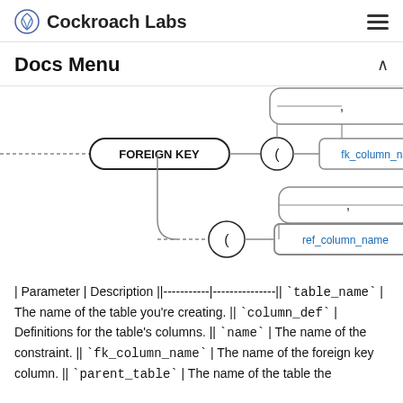Cockroach Labs
Docs Menu
[Figure (flowchart): Railroad/syntax diagram showing FOREIGN KEY ( fk_column_name ) and a second branch with ( ref_column_name ) with comma loop]
| Parameter | Description ||-----------|---------------|| `table_name` | The name of the table you're creating. || `column_def` | Definitions for the table's columns. || `name` | The name of the constraint. || `fk_column_name` | The name of the foreign key column. || `parent_table` | The name of the table the